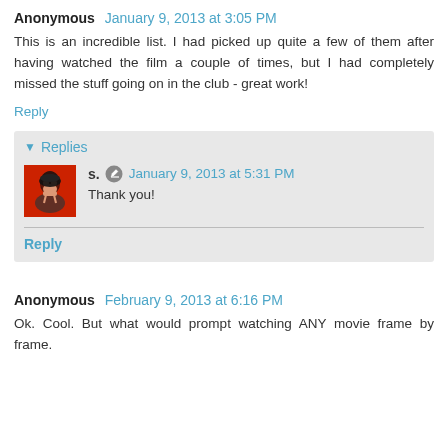Anonymous January 9, 2013 at 3:05 PM
This is an incredible list. I had picked up quite a few of them after having watched the film a couple of times, but I had completely missed the stuff going on in the club - great work!
Reply
Replies
s. January 9, 2013 at 5:31 PM
Thank you!
Reply
Anonymous February 9, 2013 at 6:16 PM
Ok. Cool. But what would prompt watching ANY movie frame by frame.